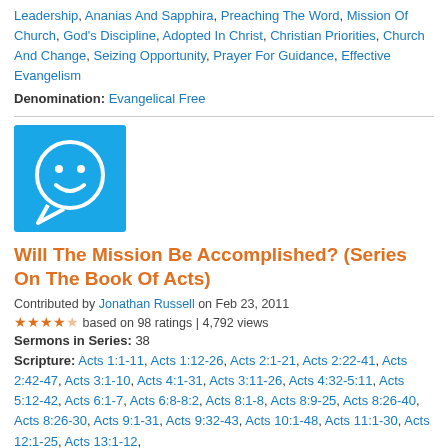Leadership, Ananias And Sapphira, Preaching The Word, Mission Of Church, God's Discipline, Adopted In Christ, Christian Priorities, Church And Change, Seizing Opportunity, Prayer For Guidance, Effective Evangelism
Denomination: Evangelical Free
[Figure (illustration): Blue square icon with a white smiley face speech bubble]
Will The Mission Be Accomplished? (Series On The Book Of Acts)
Contributed by Jonathan Russell on Feb 23, 2011
★★★★☆ based on 98 ratings | 4,792 views
Sermons in Series: 38
Scripture: Acts 1:1-11, Acts 1:12-26, Acts 2:1-21, Acts 2:22-41, Acts 2:42-47, Acts 3:1-10, Acts 4:1-31, Acts 3:11-26, Acts 4:32-5:11, Acts 5:12-42, Acts 6:1-7, Acts 6:8-8:2, Acts 8:1-8, Acts 8:9-25, Acts 8:26-40, Acts 8:26-30, Acts 9:1-31, Acts 9:32-43, Acts 10:1-48, Acts 11:1-30, Acts 12:1-25, Acts 13:1-12,